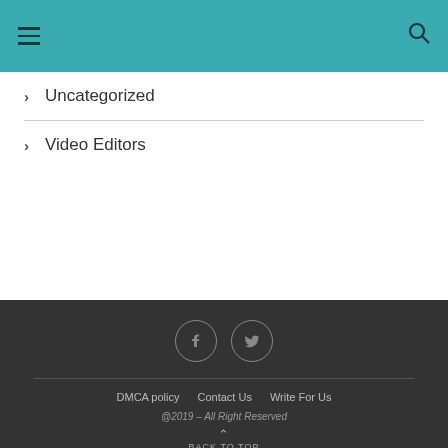Navigation header with hamburger menu and search icon
Uncategorized
Video Editors
Social icons (Facebook, Twitter), DMCA policy | Contact Us | Write For Us, @2019 - All Right Reserved, BACK TO TOP